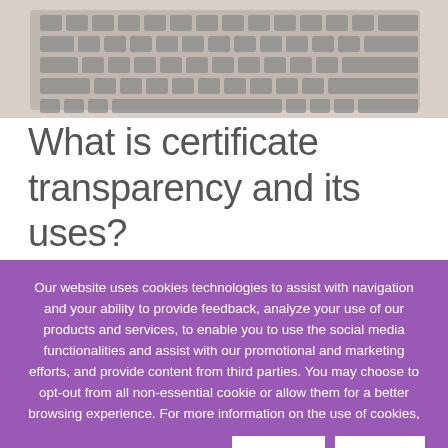[Figure (photo): Close-up black and white photo of a laptop keyboard]
What is certificate transparency and its uses?
Our website uses cookies technologies to assist with navigation and your ability to provide feedback, analyze your use of our products and services, to enable you to use the social media functionalities and assist with our promotional and marketing efforts, and provide content from third parties. You may choose to opt-out from all non-essential cookie or allow them for a better browsing experience. For more information on the use of cookies,
Please check our Privacy Notice  ACCEPT  REJECT